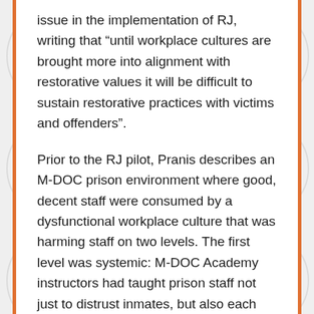issue in the implementation of RJ, writing that “until workplace cultures are brought more into alignment with restorative values it will be difficult to sustain restorative practices with victims and offenders”.
Prior to the RJ pilot, Pranis describes an M-DOC prison environment where good, decent staff were consumed by a dysfunctional workplace culture that was harming staff on two levels. The first level was systemic: M-DOC Academy instructors had taught prison staff not just to distrust inmates, but also each other; that bad